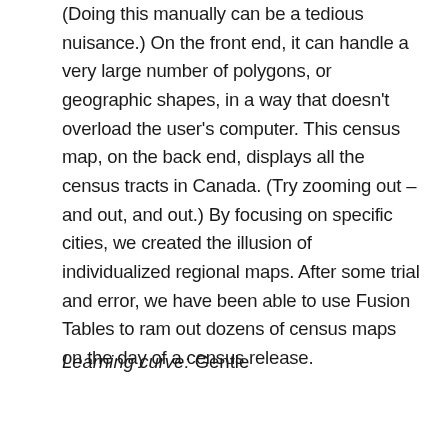(Doing this manually can be a tedious nuisance.) On the front end, it can handle a very large number of polygons, or geographic shapes, in a way that doesn't overload the user's computer. This census map, on the back end, displays all the census tracts in Canada. (Try zooming out – and out, and out.) By focusing on specific cities, we created the illusion of individualized regional maps. After some trial and error, we have been able to use Fusion Tables to ram out dozens of census maps on the day of a census release.
Learning curve: Gentle